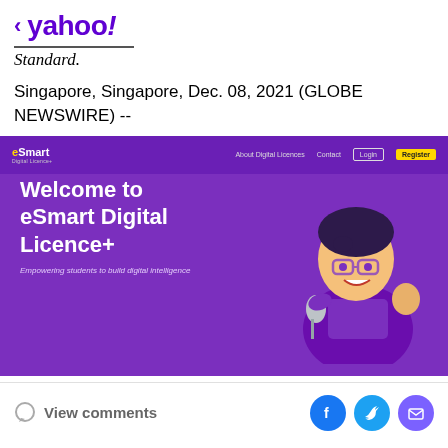< yahoo!
Standard.
Singapore, Singapore, Dec. 08, 2021 (GLOBE NEWSWIRE) --
[Figure (screenshot): Screenshot of eSmart Digital Licence+ website homepage with purple background, navigation bar with logo, links and Register button, hero text 'Welcome to eSmart Digital Licence+', subtitle 'Empowering students to build digital intelligence', and animated character on the right]
View comments
[Figure (other): Social sharing icons: Facebook (blue circle with f), Twitter (light blue circle with bird), Email (purple circle with envelope)]